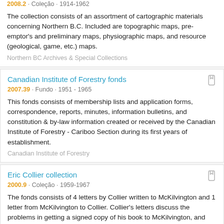2008.2 · Coleção · 1914-1962
The collection consists of an assortment of cartographic materials concerning Northern B.C. Included are topographic maps, pre-emptor's and preliminary maps, physiographic maps, and resource (geological, game, etc.) maps.
Northern BC Archives & Special Collections
Canadian Institute of Forestry fonds
2007.39 · Fundo · 1951 - 1965
This fonds consists of membership lists and application forms, correspondence, reports, minutes, information bulletins, and constitution & by-law information created or received by the Canadian Institute of Forestry - Cariboo Section during its first years of establishment.
Canadian Institute of Forestry
Eric Collier collection
2000.9 · Coleção · 1959-1967
The fonds consists of 4 letters by Collier written to McKilvington and 1 letter from McKilvington to Collier. Collier's letters discuss the problems in getting a signed copy of his book to McKilvington, and also respond to McKilvington's